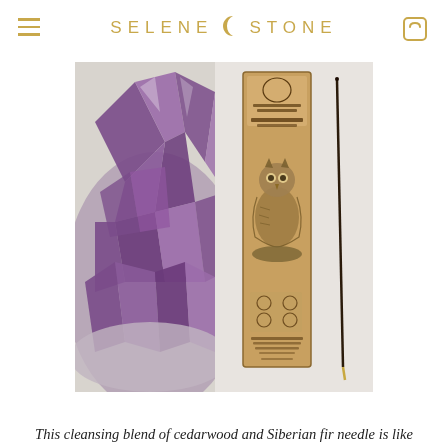SELENE STONE
[Figure (photo): Product photo of Sea Witch Botanicals White Lodge incense package (kraft paper box with owl illustration) next to an incense stick, placed beside a purple amethyst crystal cluster on a light background.]
This cleansing blend of cedarwood and Siberian fir needle is like